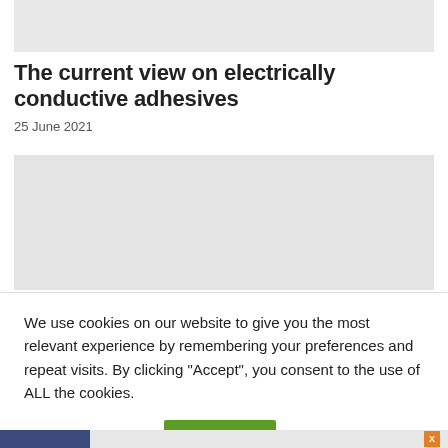[Figure (photo): Top image placeholder, gray rectangle]
The current view on electrically conductive adhesives
25 June 2021
[Figure (photo): Article image placeholder with loading lines]
We use cookies on our website to give you the most relevant experience by remembering your preferences and repeat visits. By clicking “Accept”, you consent to the use of ALL the cookies.
Cookie settings
ACCEPT